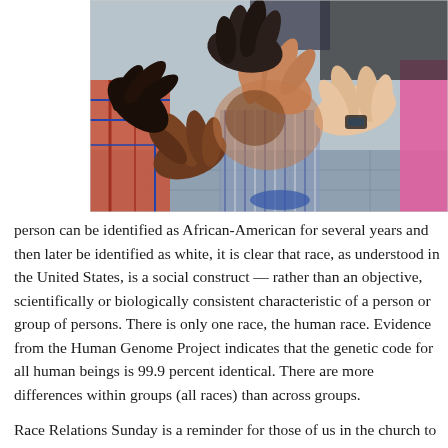[Figure (photo): Multiple hands of diverse skin tones joined together in a circle, viewed from above, symbolizing unity and racial harmony.]
person can be identified as African-American for several years and then later be identified as white, it is clear that race, as understood in the United States, is a social construct — rather than an objective, scientifically or biologically consistent characteristic of a person or group of persons. There is only one race, the human race. Evidence from the Human Genome Project indicates that the genetic code for all human beings is 99.9 percent identical. There are more differences within groups (all races) than across groups.
Race Relations Sunday is a reminder for those of us in the church to recommit ourselves to end racism. When Peter preached his “Race Relations Day” sermon, he said, “I truly